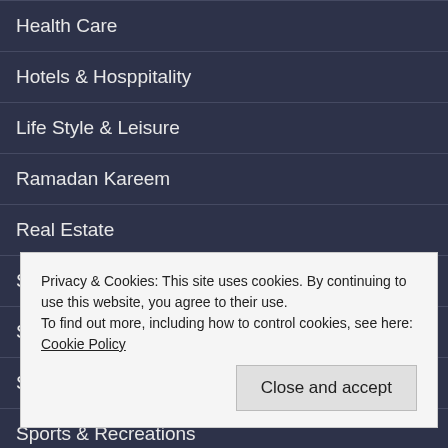Health Care
Hotels & Hosppitality
Life Style & Leisure
Ramadan Kareem
Real Estate
Sharjah Children Reading Festival
Sharjah International Book Fair
Shopping & Promotions
Sports & Recreations
Uncategorized
Privacy & Cookies: This site uses cookies. By continuing to use this website, you agree to their use. To find out more, including how to control cookies, see here: Cookie Policy
Close and accept